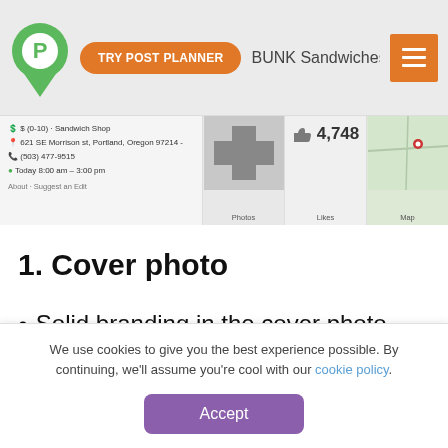[Figure (screenshot): Website header with Post Planner logo (green map pin with P), orange 'TRY POST PLANNER' button, 'BUNK Sandwiches' title, and orange hamburger menu icon]
[Figure (screenshot): Facebook page info strip showing BUNK Sandwiches details: $ (0-10), Sandwich Shop, 621 SE Morrison St Portland Oregon 97214, (503) 477-9515, Today 8:00 am - 3:00 pm, About - Suggest an Edit, Photos panel, 4,748 Likes panel, Map panel]
1. Cover photo
Solid branding in the cover photo provides some fre
sandwich shop
We use cookies to give you the best experience possible. By continuing, we'll assume you're cool with our cookie policy.
Accept